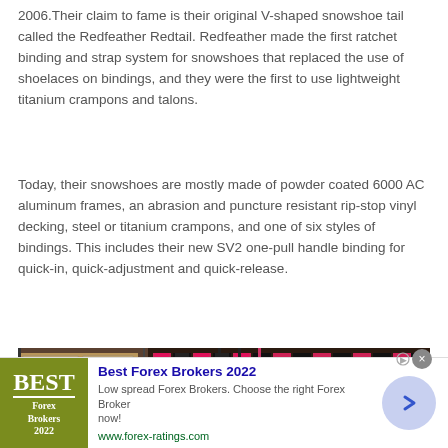2006.Their claim to fame is their original V-shaped snowshoe tail called the Redfeather Redtail. Redfeather made the first ratchet binding and strap system for snowshoes that replaced the use of shoelaces on bindings, and they were the first to use lightweight titanium crampons and talons.
Today, their snowshoes are mostly made of powder coated 6000 AC aluminum frames, an abrasion and puncture resistant rip-stop vinyl decking, steel or titanium crampons, and one of six styles of bindings. This includes their new SV2 one-pull handle binding for quick-in, quick-adjustment and quick-release.
[Figure (photo): Warehouse photo showing stacks of red and black snowshoes with boxes in the background. An infolinks banner is overlaid at the bottom left.]
[Figure (other): Advertisement banner for Best Forex Brokers 2022 with olive/yellow-green logo on the left, ad text in the center, and a blue circular arrow button on the right. URL: www.forex-ratings.com]